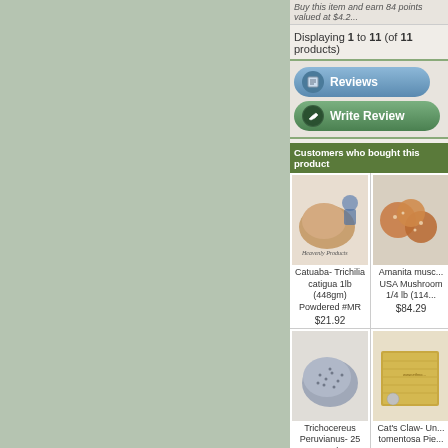Buy this item and earn 84 points valued at $4.2...
Displaying 1 to 11 (of 11 products)
[Figure (screenshot): Reviews button with book icon, blue pill shape]
[Figure (screenshot): Write Review button with pen icon, green pill shape]
Customers who bought this product
[Figure (photo): Product photo: Catuaba powder, brown powder pile with Heavenly Products label]
Catuaba- Trichilia catigua 1lb (448gm) Powdered #MR
$21.92
[Figure (photo): Product photo: Amanita muscaria USA Mushroom 1/4 lb (114...)]
Amanita musc... USA Mushroom 1/4 lb (114...
$84.29
[Figure (photo): Product photo: Trichocereus Peruvianus seeds, small seeds pile]
Trichocereus Peruvianus- 25 Seeds
[Figure (photo): Product photo: Cat's Claw- Uncaria tomentosa Piece, wooden bark piece]
Cat's Claw- Un... tomentosa Pie...